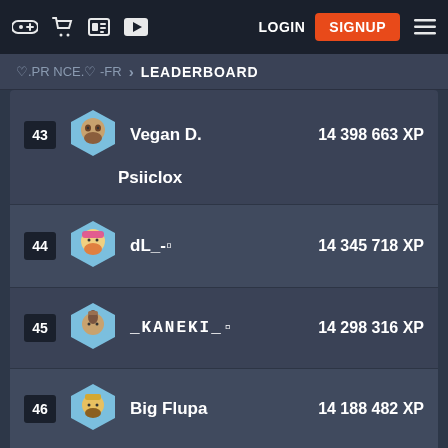LOGIN | SIGNUP
♡.PR NCE.♡ -FR > LEADERBOARD
| Rank | Player | XP |
| --- | --- | --- |
| 43 | Vegan D. / Psiiclox | 14 398 663 XP |
| 44 | dL_-🔷 | 14 345 718 XP |
| 45 | _KANEKI_🔷 | 14 298 316 XP |
| 46 | Big Flupa | 14 188 482 XP |
| 47 | ███ | 14 113 569 XP |